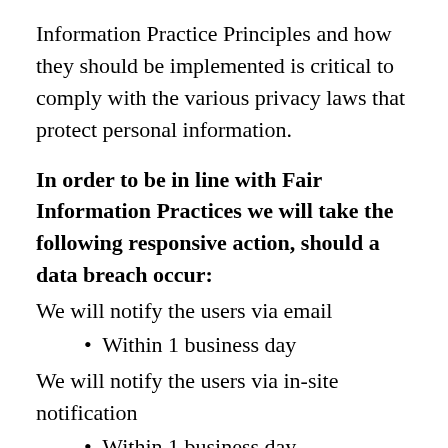Information Practice Principles and how they should be implemented is critical to comply with the various privacy laws that protect personal information.
In order to be in line with Fair Information Practices we will take the following responsive action, should a data breach occur:
We will notify the users via email
Within 1 business day
We will notify the users via in-site notification
Within 1 business day
We also agree to the Individual Redress Principle, which requires that individuals have a right to pursue legally enforceable rights against data